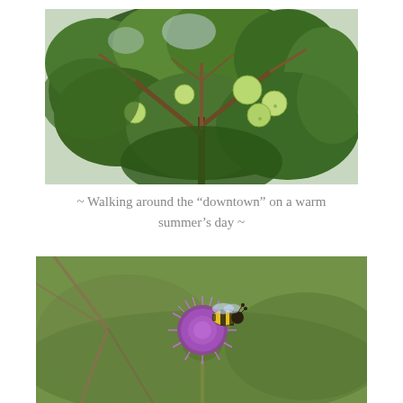[Figure (photo): Photograph of green apples hanging on a tree with dense green foliage and brown branches, taken on a cloudy day.]
~ Walking around the “downtown” on a warm summer’s day ~
[Figure (photo): Photograph of a bumblebee landing on a purple thistle flower, with blurred green grass in the background and bare branches visible.]